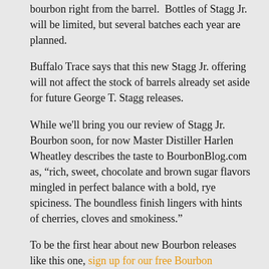bourbon right from the barrel.  Bottles of Stagg Jr. will be limited, but several batches each year are planned.
Buffalo Trace says that this new Stagg Jr. offering will not affect the stock of barrels already set aside for future George T. Stagg releases.
While we'll bring you our review of Stagg Jr. Bourbon soon, for now Master Distiller Harlen Wheatley describes the taste to BourbonBlog.com as, “rich, sweet, chocolate and brown sugar flavors mingled in perfect balance with a bold, rye spiciness. The boundless finish lingers with hints of cherries, cloves and smokiness.”
To be the first hear about new Bourbon releases like this one, sign up for our free Bourbon Newsletter on this link.
“We’ve been aging these barrels for years in anticipation of this Stagg Jr. offering,” say Kris Comstock, bourbon marketing director. “George T. Stagg has won countless awards, but we're delighted to introduce Stagg Jr., which should be a